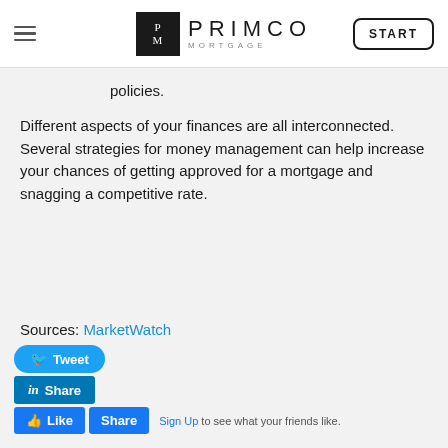PRIMCO MORTGAGE | START
policies.
Different aspects of your finances are all interconnected. Several strategies for money management can help increase your chances of getting approved for a mortgage and snagging a competitive rate.
Sources: MarketWatch
[Figure (other): Social sharing buttons: Tweet, Share (LinkedIn), Like and Share (Facebook) with Sign Up link]